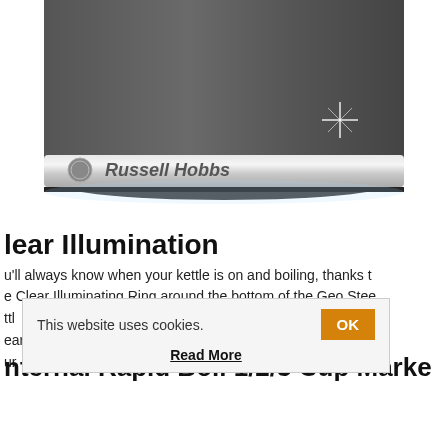[Figure (photo): Close-up photo of a Russell Hobbs Geo Steel kettle showing the branded silver band with 'Russell Hobbs' text, dark grey body, and a sparkling illumination effect at the bottom ring area.]
lear Illumination
u'll always know when your kettle is on and boiling, thanks t the Clear Illuminating Ring around the bottom of the Geo Stee ttl your kettle, this ear r counter, whilst y ur
This website uses cookies.
Read More
nternal Rapid Boil 1/2/3 Cup Marke